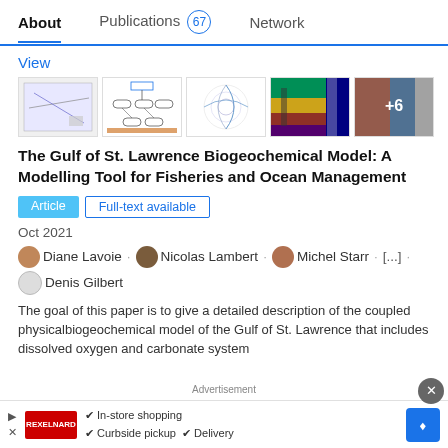About   Publications 67   Network
View
[Figure (screenshot): Row of 5 thumbnail images from the paper on Gulf of St. Lawrence Biogeochemical Model, with +6 overlay on the last thumbnail]
The Gulf of St. Lawrence Biogeochemical Model: A Modelling Tool for Fisheries and Ocean Management
Article   Full-text available
Oct 2021
Diane Lavoie · Nicolas Lambert · Michel Starr · [...] · Denis Gilbert
The goal of this paper is to give a detailed description of the coupled physicalbiogeochemical model of the Gulf of St. Lawrence that includes dissolved oxygen and carbonate system...
Advertisement   In-store shopping   Curbside pickup ✓ Delivery